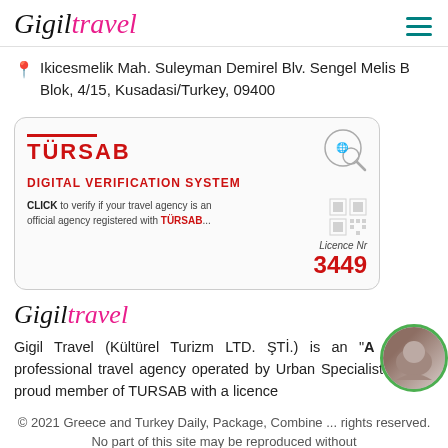Gigil Travel (logo) + hamburger menu
📍 Ikicesmelik Mah. Suleyman Demirel Blv. Sengel Melis B Blok, 4/15, Kusadasi/Turkey, 09400
[Figure (other): TURSAB Digital Verification System badge with Licence Nr 3449]
[Figure (logo): Gigil Travel handwritten-style logo]
Gigil Travel (Kültürel Turizm LTD. ŞTİ.) is an "A Group" professional travel agency operated by Urban Specialists and a proud member of TURSAB with a licence
© 2021 Greece and Turkey Daily, Package, Combine ... rights reserved. No part of this site may be reproduced without